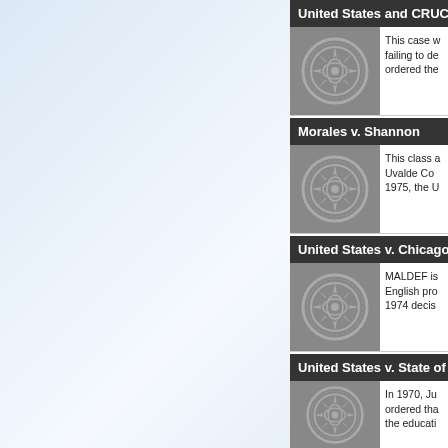[Figure (illustration): Light blue gradient background on left panel, likely decorative imagery]
United States and CRUCIA
[Figure (logo): MALDEF circular seal/logo on dark grey background]
This case w... failing to de... ordered the...
Morales v. Shannon
[Figure (logo): MALDEF circular seal/logo on dark grey background]
This class a... Uvalde Co... 1975, the U...
United States v. Chicago P
[Figure (logo): MALDEF circular seal/logo on dark grey background]
MALDEF is... English pro... 1974 decis...
United States v. State of Te
[Figure (logo): MALDEF circular seal/logo on dark grey background]
In 1970, Ju... ordered tha... the educati...